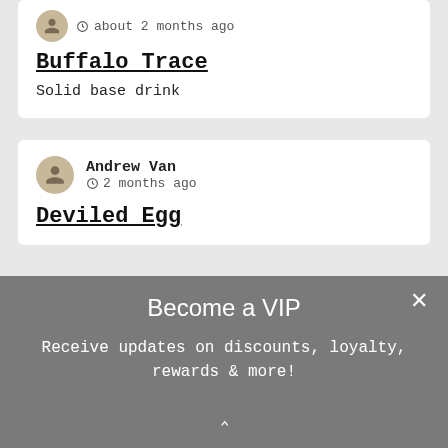about 2 months ago
Buffalo Trace
Solid base drink
Andrew Van
2 months ago
Deviled Egg
Become a VIP
Receive updates on discounts, loyalty, rewards & more!